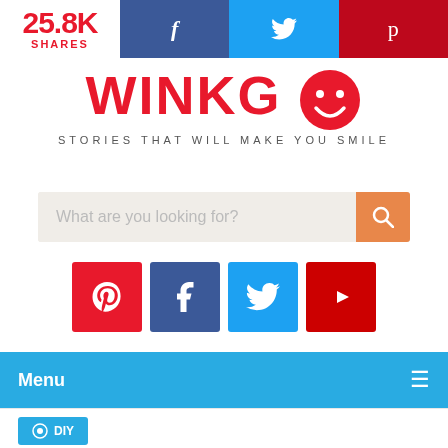25.8K SHARES
[Figure (logo): WINKGO logo with smiley face and tagline STORIES THAT WILL MAKE YOU SMILE]
[Figure (other): Search bar with placeholder text 'What are you looking for?' and orange search button]
[Figure (other): Social media icons row: Pinterest (red), Facebook (dark blue), Twitter (light blue), YouTube (red)]
[Figure (other): Navigation menu bar in sky blue with Menu text and hamburger icon]
[Figure (other): DIY category badge in sky blue]
It IS Easy Being Green With These